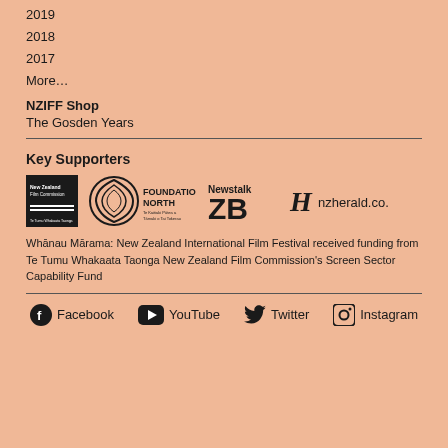2019
2018
2017
More…
NZIFF Shop
The Gosden Years
Key Supporters
[Figure (logo): Logos of Key Supporters: New Zealand Film Commission, Foundation North, Newstalk ZB, nzherald.co.nz]
Whānau Mārama: New Zealand International Film Festival received funding from Te Tumu Whakaata Taonga New Zealand Film Commission's Screen Sector Capability Fund
Facebook  YouTube  Twitter  Instagram